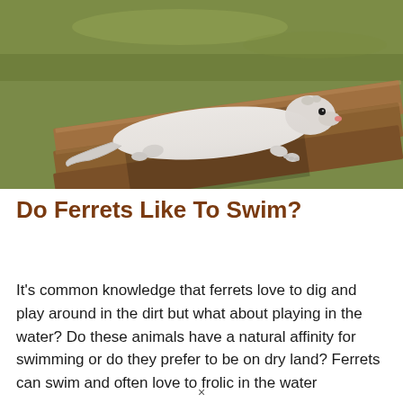[Figure (photo): A white/light-colored ferret perched on wooden planks/boards, with a blurred green water background. The ferret is elongated, facing right, with small dark eyes and a pink nose.]
Do Ferrets Like To Swim?
It's common knowledge that ferrets love to dig and play around in the dirt but what about playing in the water? Do these animals have a natural affinity for swimming or do they prefer to be on dry land? Ferrets can swim and often love to frolic in the water